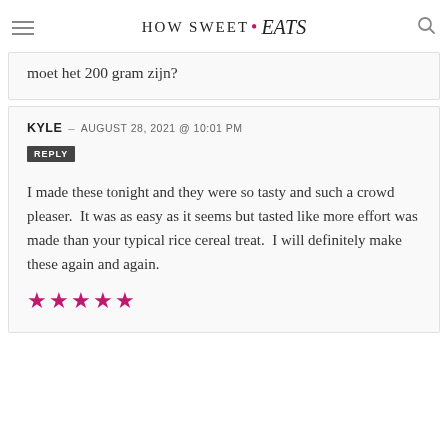HOW SWEET • eats
vraag [...] Doe je daar dan 2 kilo marshmallows in? Of moet het 200 gram zijn?
KYLE – AUGUST 28, 2021 @ 10:01 PM
REPLY
I made these tonight and they were so tasty and such a crowd pleaser. It was as easy as it seems but tasted like more effort was made than your typical rice cereal treat. I will definitely make these again and again.
★★★★★